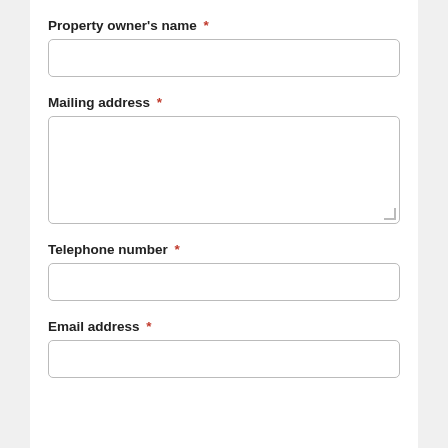Property owner's name *
Mailing address *
Telephone number *
Email address *